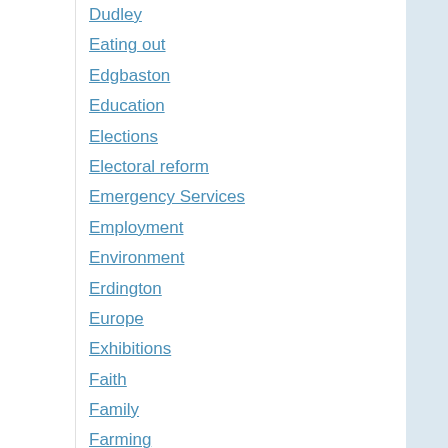Dudley
Eating out
Edgbaston
Education
Elections
Electoral reform
Emergency Services
Employment
Environment
Erdington
Europe
Exhibitions
Faith
Family
Farming
Fashion